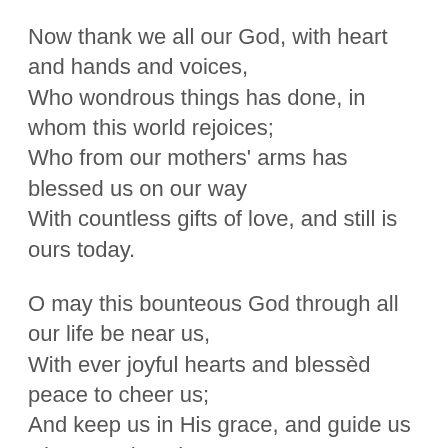Now thank we all our God, with heart and hands and voices,
Who wondrous things has done, in whom this world rejoices;
Who from our mothers' arms has blessed us on our way
With countless gifts of love, and still is ours today.
O may this bounteous God through all our life be near us,
With ever joyful hearts and blessèd peace to cheer us;
And keep us in His grace, and guide us when perplexed;
And free us from all ills, in this world and the